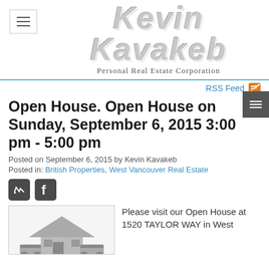Kevin Kavakeb Personal Real Estate Corporation
RSS Feed
Open House. Open House on Sunday, September 6, 2015 3:00 pm - 5:00 pm
Posted on September 6, 2015 by Kevin Kavakeb
Posted in: British Properties, West Vancouver Real Estate
[Figure (illustration): House/home icon illustration in gray]
Please visit our Open House at 1520 TAYLOR WAY in West